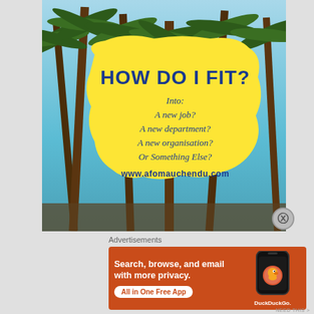[Figure (illustration): Advertisement banner with palm trees background and yellow blob overlay. Yellow blob contains text: 'HOW DO I FIT?' with subtext 'Into: A new job? A new department? A new organisation? Or Something Else?' and URL www.afomauchendu.com]
Advertisements
[Figure (infographic): DuckDuckGo advertisement on orange/red background. Text: 'Search, browse, and email with more privacy. All in One Free App' with DuckDuckGo logo and smartphone graphic.]